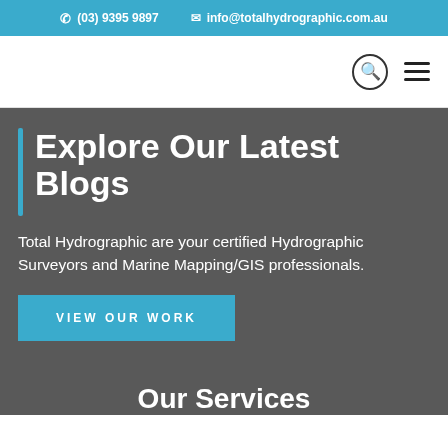(03) 9395 9897  info@totalhydrographic.com.au
Explore Our Latest Blogs
Total Hydrographic are your certified Hydrographic Surveyors and Marine Mapping/GIS professionals.
VIEW OUR WORK
Our Services